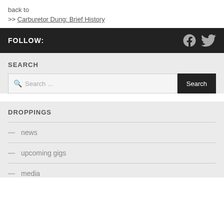back to
>> Carburetor Dung: Brief History
FOLLOW:
[Figure (other): Facebook and Twitter social media icons in gray]
SEARCH
Search ...
DROPPINGS
— news
— upcoming gigs
— media